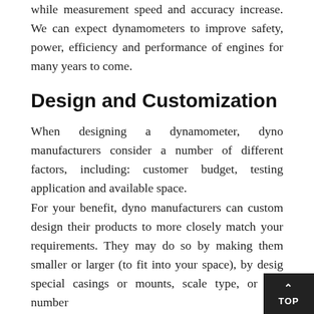while measurement speed and accuracy increase. We can expect dynamometers to improve safety, power, efficiency and performance of engines for many years to come.
Design and Customization
When designing a dynamometer, dyno manufacturers consider a number of different factors, including: customer budget, testing application and available space.
For your benefit, dyno manufacturers can custom design their products to more closely match your requirements. They may do so by making them smaller or larger (to fit into your space), by desig special casings or mounts, scale type, or any number